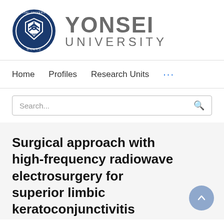[Figure (logo): Yonsei University logo: circular seal with navy blue border and shield crest, alongside 'YONSEI UNIVERSITY' text in gray]
Home   Profiles   Research Units   ...
Search...
Surgical approach with high-frequency radiowave electrosurgery for superior limbic keratoconjunctivitis